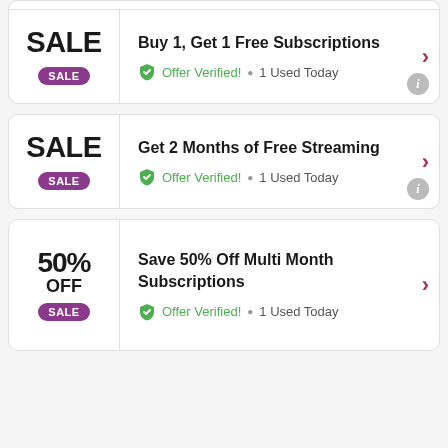[Figure (screenshot): Coupon/deal card: SALE badge, 'Buy 1, Get 1 Free Subscriptions', Offer Verified! 1 Used Today]
[Figure (screenshot): Coupon/deal card: SALE badge, 'Get 2 Months of Free Streaming', Offer Verified! 1 Used Today]
[Figure (screenshot): Coupon/deal card: 50% OFF SALE badge, 'Save 50% Off Multi Month Subscriptions', Offer Verified! 1 Used Today]